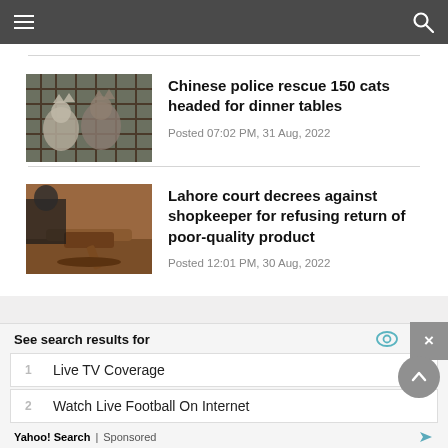Navigation bar with menu and search icons
[Figure (photo): Cats behind wire mesh/cage]
Chinese police rescue 150 cats headed for dinner tables
Posted 07:02 PM, 31 Aug, 2022
[Figure (photo): Judge's gavel on a desk in a courtroom]
Lahore court decrees against shopkeeper for refusing return of poor-quality product
Posted 12:01 PM, 30 Aug, 2022
See search results for
1   Live TV Coverage
2   Watch Live Football On Internet
Yahoo! Search | Sponsored